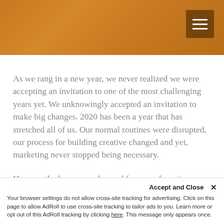[Figure (photo): Orange/amber toned header image with decorative background, likely a close-up photo with warm orange hues. Menu hamburger button in top right corner.]
As we rang in a new year, we never realized we were accepting an invitation to one of the most challenging years yet. We unknowingly accepted an invitation to make big changes. 2020 has been a year that has stretched all of us. Our normal routines were disrupted, our process for building creative changed and yet, marketing never stopped being necessary.
Here are the lessons we learned from our favorite campaigns throughout the year.
Accept and Close ✕
Your browser settings do not allow cross-site tracking for advertising. Click on this page to allow AdRoll to use cross-site tracking to tailor ads to you. Learn more or opt out of this AdRoll tracking by clicking here. This message only appears once.